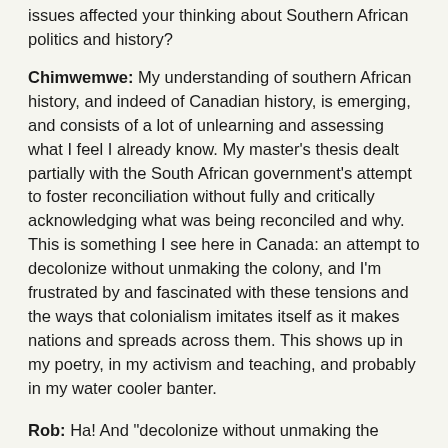issues affected your thinking about Southern African politics and history?
Chimwemwe: My understanding of southern African history, and indeed of Canadian history, is emerging, and consists of a lot of unlearning and assessing what I feel I already know. My master’s thesis dealt partially with the South African government’s attempt to foster reconciliation without fully and critically acknowledging what was being reconciled and why. This is something I see here in Canada: an attempt to decolonize without unmaking the colony, and I’m frustrated by and fascinated with these tensions and the ways that colonialism imitates itself as it makes nations and spreads across them. This shows up in my poetry, in my activism and teaching, and probably in my water cooler banter.
Rob: Ha! And "decolonize without unmaking the colony" — you say that here...